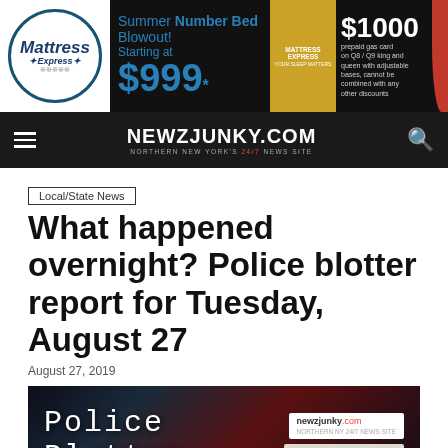[Figure (infographic): Mattress Express advertisement banner: Summer Number Bed Blowout! Starting at $999* with $1000 prepaid gas card offer]
NEWZJUNKY.COM — NORTHERN NEW YORK'S 24/7 NEWS SITE
Local/State News
What happened overnight? Police blotter report for Tuesday, August 27
August 27, 2019
[Figure (photo): Police Blotter hero image with dark background showing police lights, text 'Police Blotter' on left and newzjunky.com / nnycrime.com logos on right]